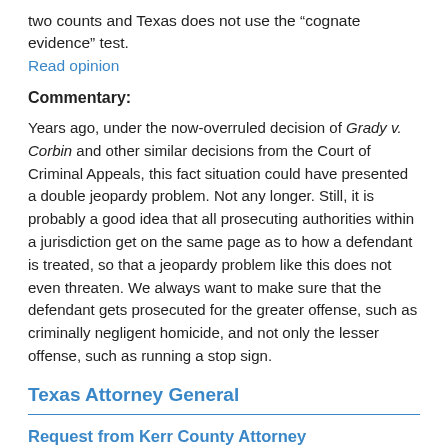two counts and Texas does not use the “cognate evidence” test.
Read opinion
Commentary:
Years ago, under the now-overruled decision of Grady v. Corbin and other similar decisions from the Court of Criminal Appeals, this fact situation could have presented a double jeopardy problem. Not any longer. Still, it is probably a good idea that all prosecuting authorities within a jurisdiction get on the same page as to how a defendant is treated, so that a jeopardy problem like this does not even threaten. We always want to make sure that the defendant gets prosecuted for the greater offense, such as criminally negligent homicide, and not only the lesser offense, such as running a stop sign.
Texas Attorney General
Request from Kerr County Attorney
RO-1103-CA — 12/7/12